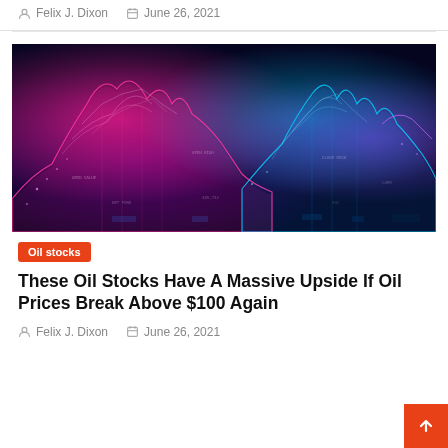Felix J. Dixon   June 26, 2021
[Figure (illustration): Abstract digital financial data visualization with pink/magenta and blue/cyan glowing wave surfaces on dark background]
Oil stocks
These Oil Stocks Have A Massive Upside If Oil Prices Break Above $100 Again
Felix J. Dixon   June 26, 2021